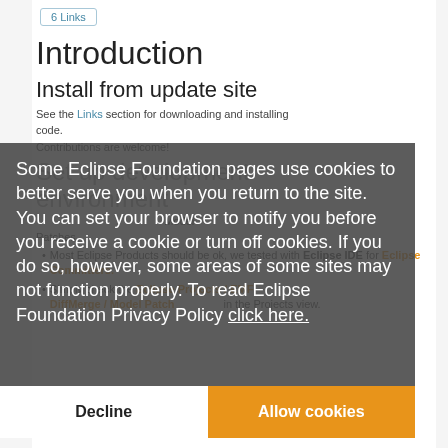6 Links
Introduction
Install from update site
See the Links section for downloading and installing code.
Contributions are welcome!
Set up development environment
... Model Patches.
Most Eclipse Products should be ok, we tested with Eclipse IDE for Eclipse Committers.
Simply check the Eclipse Projects / EMF DiffMerge / Model Patch in the Projects view.
Some Eclipse Foundation pages use cookies to better serve you when you return to the site. You can set your browser to notify you before you receive a cookie or turn off cookies. If you do so, however, some areas of some sites may not function properly. To read Eclipse Foundation Privacy Policy click here.